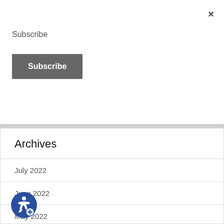×
Subscribe
Subscribe
Archives
July 2022
June 2022
May 2022
April 2022
March 2022
January 2022